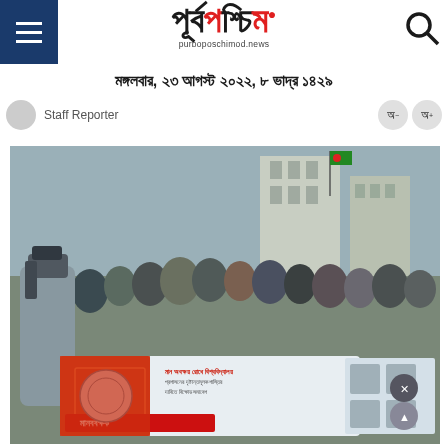Purbo Poschimod News - পূর্বপশ্চিম
মঙ্গলবার, ২৩ আগস্ট ২০২২, ৮ ভাদ্র ১৪২৯
Staff Reporter
[Figure (photo): A group of protesters holding a banner with Bengali text and photographs of political figures, with journalists filming them. An outdoor urban setting is visible in the background with buildings. The banner includes text in Bengali and photos.]